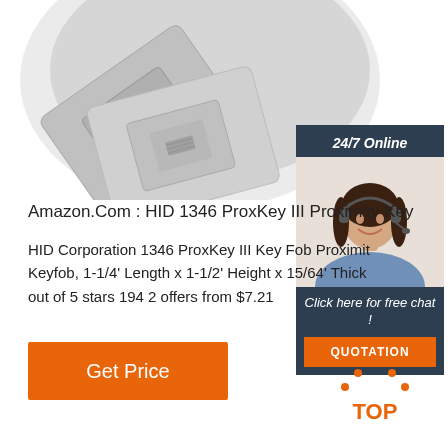[Figure (photo): Product image of HID ProxKey III proximity key fob - grey RFID cards/tags shown on white background]
[Figure (photo): Sidebar widget showing 24/7 Online support with photo of woman wearing headset, and a QUOTATION button]
Amazon.Com : HID 1346 ProxKey III Proximity Key
HID Corporation 1346 ProxKey III Key Fob Proximity Keyfob, 1-1/4' Length x 1-1/2' Height x 15/64' Thick out of 5 stars 194 2 offers from $7.21
[Figure (other): Get Price orange button]
[Figure (logo): TOP logo with orange dots above text]